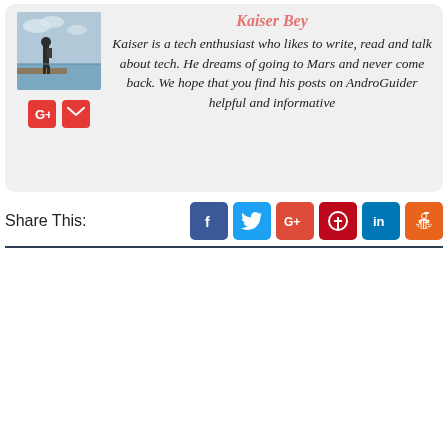[Figure (photo): Author photo of Kaiser Bey standing by the sea with a backpack]
Kaiser Bey
Kaiser is a tech enthusiast who likes to write, read and talk about tech. He dreams of going to Mars and never come back. We hope that you find his posts on AndroGuider helpful and informative
Share This: